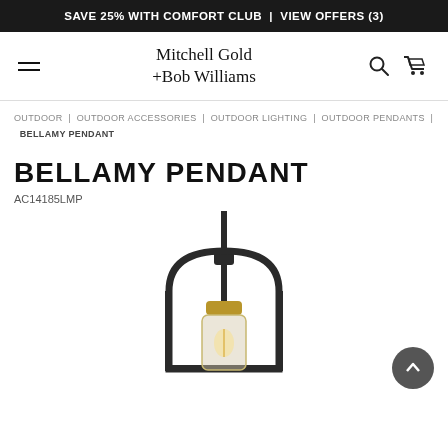SAVE 25% WITH COMFORT CLUB | VIEW OFFERS (3)
[Figure (logo): Mitchell Gold +Bob Williams logo with hamburger menu, search icon, and cart icon in navigation bar]
OUTDOOR | OUTDOOR ACCESSORIES | OUTDOOR LIGHTING | OUTDOOR PENDANTS | BELLAMY PENDANT
BELLAMY PENDANT
AC14185LMP
[Figure (photo): Bellamy Pendant lamp product photo showing a black arch-frame pendant light with a clear glass cylindrical shade and brass socket, hanging by a black cord]